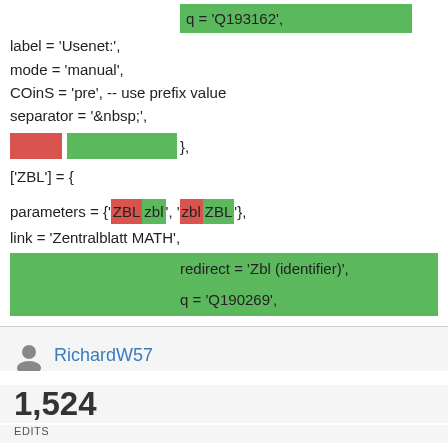[Figure (screenshot): Code diff screenshot showing Lua/wiki configuration code with green (added) and red (removed) highlighted sections. Lines include q='Q193162', label='Usenet:', mode='manual', COinS='pre', separator='&nbsp;', mixed red/green block line with '},' , ['ZBL']={, parameters={'ZBLzbl', 'zblZBL'},, link='Zentralblatt MATH', green highlighted redirect='Zbl (identifier)', q='Q190269' lines.]
RichardW57
1,524
EDITS